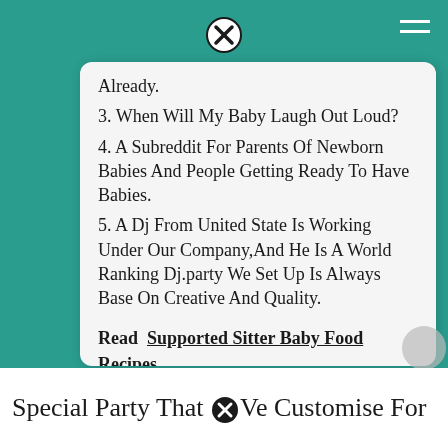Already.
3. When Will My Baby Laugh Out Loud?
4. A Subreddit For Parents Of Newborn Babies And People Getting Ready To Have Babies.
5. A Dj From United State Is Working Under Our Company,And He Is A World Ranking Dj.party We Set Up Is Always Base On Creative And Quality.
Read  Supported Sitter Baby Food Recipes
Special Party That ✕/e Customise For